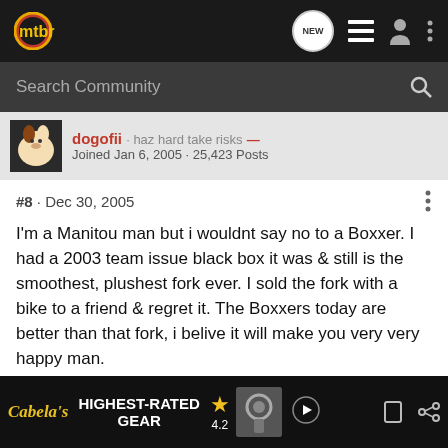mtbr — navigation bar with search
dogofii · haz hard take risks — Joined Jan 6, 2005 · 25,423 Posts
#8 · Dec 30, 2005
I'm a Manitou man but i wouldnt say no to a Boxxer. I had a 2003 team issue black box it was & still is the smoothest, plushest fork ever. I sold the fork with a bike to a friend & regret it. The Boxxers today are better than that fork, i belive it will make you very very happy man.
Formotion Products
http://www.formot
[Figure (screenshot): Cabela's advertisement banner: HIGHEST-RATED GEAR, rating 4.2 with star icon, gear/meat grinder image, play button]